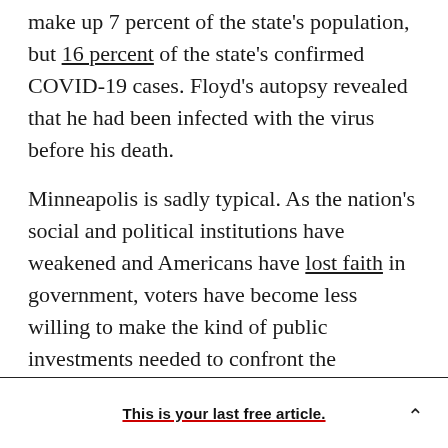make up 7 percent of the state's population, but 16 percent of the state's confirmed COVID-19 cases. Floyd's autopsy revealed that he had been infected with the virus before his death.
Minneapolis is sadly typical. As the nation's social and political institutions have weakened and Americans have lost faith in government, voters have become less willing to make the kind of public investments needed to confront the country's major challenges, including environmental degradation, violence, segregation, racial injustice, addiction, mental illness, and economic
This is your last free article.